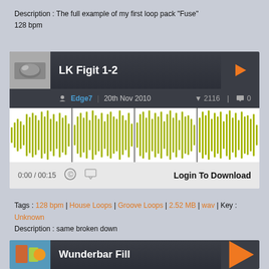Description : The full example of my first loop pack "Fuse"
128 bpm
[Figure (screenshot): Audio player widget for track 'LK Figit 1-2' by Edge7, uploaded 20th Nov 2010, with waveform visualization in yellow/green, play button, download option, 2116 downloads, 0 comments]
Tags : 128 bpm | House Loops | Groove Loops | 2.52 MB | wav | Key : Unknown
Description : same broken down
[Figure (screenshot): Audio player widget for track 'Wunderbar Fill' with colorful thumbnail and play button]